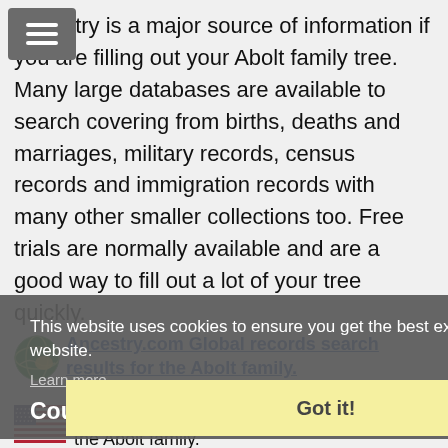[Figure (other): Hamburger menu button (three horizontal lines) in grey rounded rectangle, top-left]
Ancestry is a major source of information if you are filling out your Abolt family tree. Many large databases are available to search covering from births, deaths and marriages, military records, census records and immigration records with many other smaller collections too. Free trials are normally available and are a good way to fill out a lot of your tree quickly.
This website uses cookies to ensure you get the best experience on our website.
Learn more
Country Collection
Got it!
Ancestry.com Global records search results for the Abolt family.
Ancestry.com US records search results for the Abolt family.